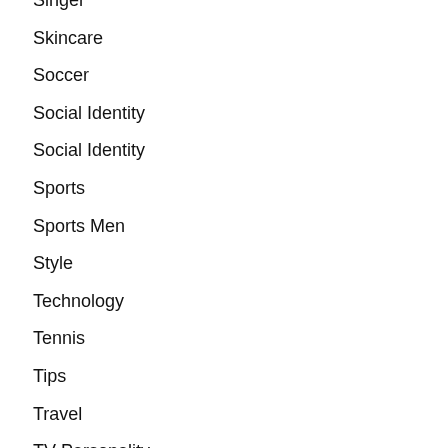Singer
Skincare
Soccer
Social Identity
Social Identity
Sports
Sports Men
Style
Technology
Tennis
Tips
Travel
TV Personality
Uncategorized
Vehicle